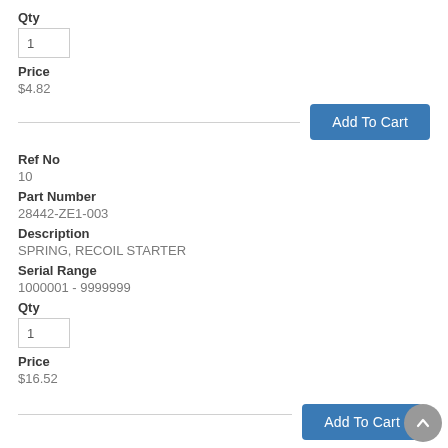Qty
1
Price
$4.82
Add To Cart
Ref No
10
Part Number
28442-ZE1-003
Description
SPRING, RECOIL STARTER
Serial Range
1000001 - 9999999
Qty
1
Price
$16.52
Add To Cart